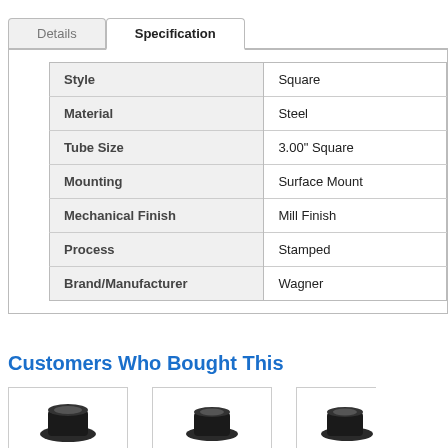| Property | Value |
| --- | --- |
| Style | Square |
| Material | Steel |
| Tube Size | 3.00" Square |
| Mounting | Surface Mount |
| Mechanical Finish | Mill Finish |
| Process | Stamped |
| Brand/Manufacturer | Wagner |
Customers Who Bought This
[Figure (photo): Product thumbnail image 1 - dark cylindrical fitting]
[Figure (photo): Product thumbnail image 2 - dark cylindrical fitting]
[Figure (photo): Product thumbnail image 3 - dark cylindrical fitting (partially visible)]